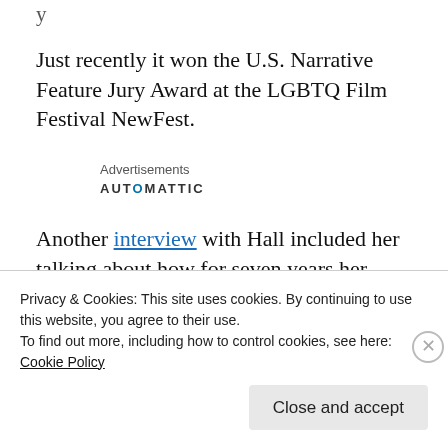Just recently it won the U.S. Narrative Feature Jury Award at the LGBTQ Film Festival NewFest.
Advertisements
AUTOMATTIC
Another interview with Hall included her talking about how for seven years her efforts to
Privacy & Cookies: This site uses cookies. By continuing to use this website, you agree to their use.
To find out more, including how to control cookies, see here:
Cookie Policy
Close and accept